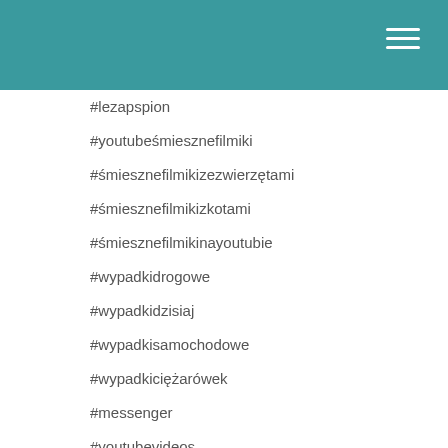#lezapspion
#youtubeśmiesznefilmiki
#śmiesznefilmikizezwierzętami
#śmiesznefilmikizkotami
#śmiesznefilmikinayoutubie
#wypadkidrogowe
#wypadkidzisiaj
#wypadkisamochodowe
#wypadkiciężarówek
#messenger
#youtubevideos
#video
#funnycatvideos
#funnygames
#pewdiepie
#videos
#nintendoswitchgames
#caraccident